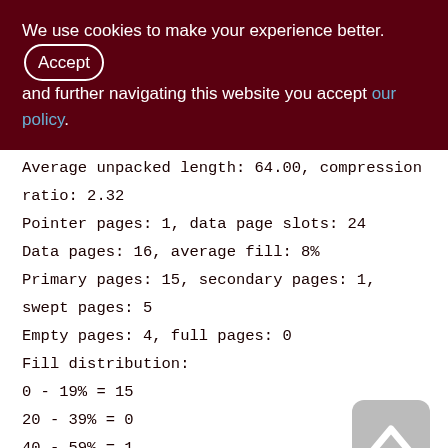We use cookies to make your experience better. By clicking Accept and further navigating this website you accept our policy.
Average unpacked length: 64.00, compression ratio: 2.32
Pointer pages: 1, data page slots: 24
Data pages: 16, average fill: 8%
Primary pages: 15, secondary pages: 1, swept pages: 5
Empty pages: 4, full pages: 0
Fill distribution:
0 - 19% = 15
20 - 39% = 0
40 - 59% = 1
60 - 79% = 0